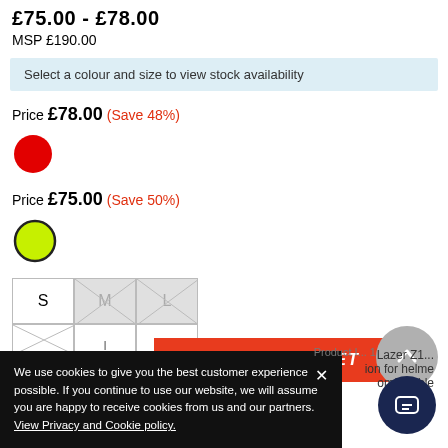£75.00 - £78.00
MSP £190.00
Select a colour and size to view stock availability
Price £78.00 (Save 48%)
[Figure (illustration): Red circular colour swatch]
Price £75.00 (Save 50%)
[Figure (illustration): Yellow-green circular colour swatch with dark border (selected)]
[Figure (illustration): Size selector row with S (available), M (unavailable/crossed), L (unavailable/crossed)]
[Figure (illustration): Second row of size buttons partially visible]
[Figure (illustration): ADD TO BASKET button in orange-red]
We use cookies to give you the best customer experience possible. If you continue to use our website, we will assume you are happy to receive cookies from us and our partners. View Privacy and Cookie policy.
Product I... 1
Lazer Z1... ion for helmer omfortable